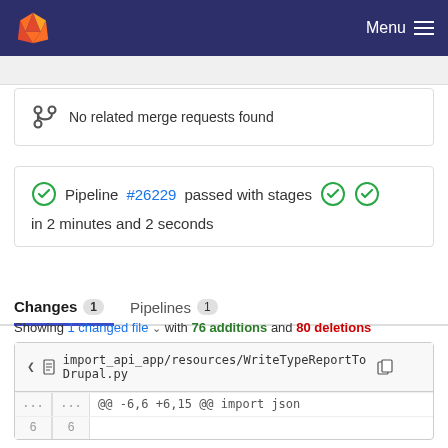GitLab navigation bar with Menu
No related merge requests found
Pipeline #26229 passed with stages in 2 minutes and 2 seconds
Changes 1   Pipelines 1
Showing 1 changed file with 76 additions and 80 deletions
import_api_app/resources/WriteTypeReportToDrupal.py
... ... @@ -6,6 +6,15 @@ import json
6 6